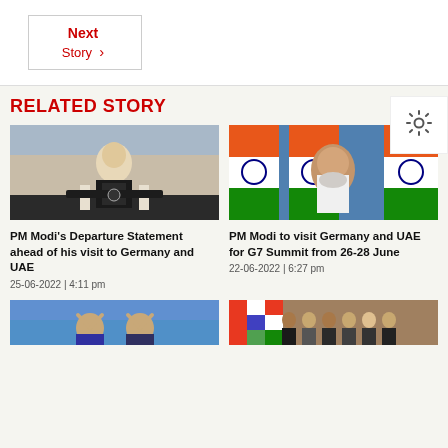Next Story
RELATED STORY
[Figure (photo): PM Modi waving at airport, departure ceremony]
PM Modi's Departure Statement ahead of his visit to Germany and UAE
25-06-2022 | 4:11 pm
[Figure (photo): PM Modi in front of Indian tricolor flags]
PM Modi to visit Germany and UAE for G7 Summit from 26-28 June
22-06-2022 | 6:27 pm
[Figure (photo): Angela Merkel and Armin Laschet with raised hands]
[Figure (photo): Group of world leaders at G7 summit with Indian flag visible]